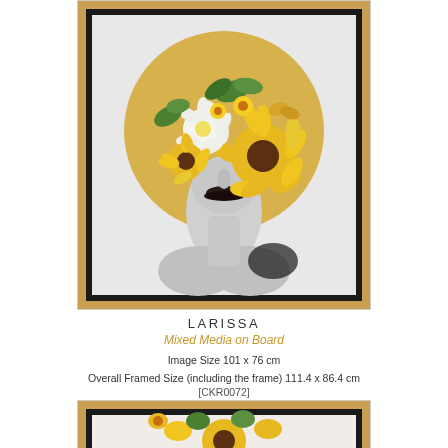[Figure (photo): Framed artwork showing a black and white portrait of a woman with sunflowers and yellow blooms covering her face and head, against a gold circular background. Black frame with gold border.]
LARISSA
Mixed Media on Board
Image Size 101 x 76 cm
Overall Framed Size (including the frame) 111.4 x 86.4 cm
[CKR0072]
[Figure (photo): Partial view of another framed artwork showing yellow sunflowers and green foliage, with gold and black frame visible at the top.]